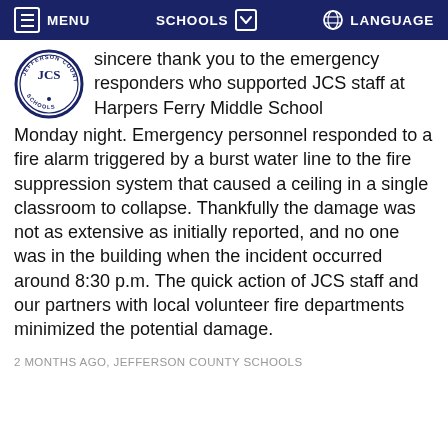MENU   SCHOOLS   LANGUAGE
[Figure (logo): JCS Jefferson County Schools circular logo with blue border]
sincere thank you to the emergency responders who supported JCS staff at Harpers Ferry Middle School Monday night. Emergency personnel responded to a fire alarm triggered by a burst water line to the fire suppression system that caused a ceiling in a single classroom to collapse. Thankfully the damage was not as extensive as initially reported, and no one was in the building when the incident occurred around 8:30 p.m. The quick action of JCS staff and our partners with local volunteer fire departments minimized the potential damage.
2 MONTHS AGO, JEFFERSON COUNTY SCHOOLS